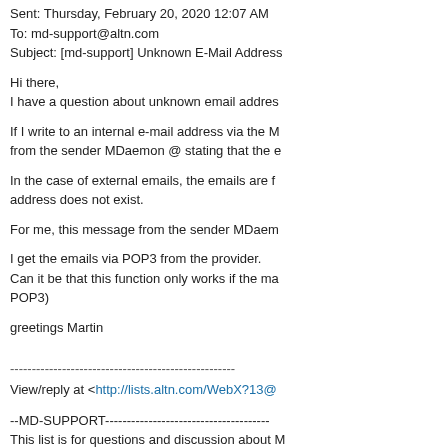Sent: Thursday, February 20, 2020 12:07 AM
To: md-support@altn.com
Subject: [md-support] Unknown E-Mail Address
Hi there,
I have a question about unknown email addres...
If I write to an internal e-mail address via the M...
from the sender MDaemon @ stating that the e...
In the case of external emails, the emails are f...
address does not exist.
For me, this message from the sender MDaem...
I get the emails via POP3 from the provider.
Can it be that this function only works if the ma...
POP3)
greetings Martin
----------------------------------------------------
View/reply at <http://lists.altn.com/WebX?13@...
--MD-SUPPORT--------------------------------------
This list is for questions and discussion about M...
unsubscribe@mdaemon.com .
--POWERED BY MDAEMON!----------------------------
----------------------------------------------------
These forums are provided by MDaemon Techr...